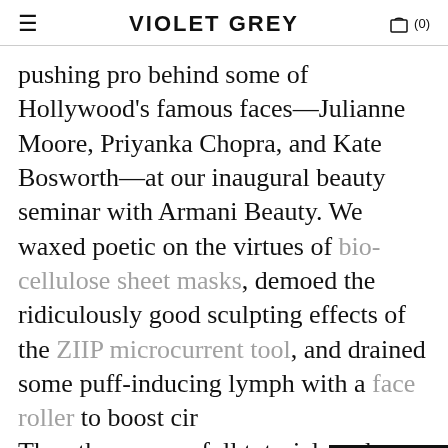VIOLET GREY
pushing pro behind some of Hollywood's famous faces—Julianne Moore, Priyanka Chopra, and Kate Bosworth—at our inaugural beauty seminar with Armani Beauty. We waxed poetic on the virtues of bio-cellulose sheet masks, demoed the ridiculously good sculpting effects of the ZIIP microcurrent tool, and drained some puff-inducing lymph with a face roller to boost cir Then there was a full tutorial on the